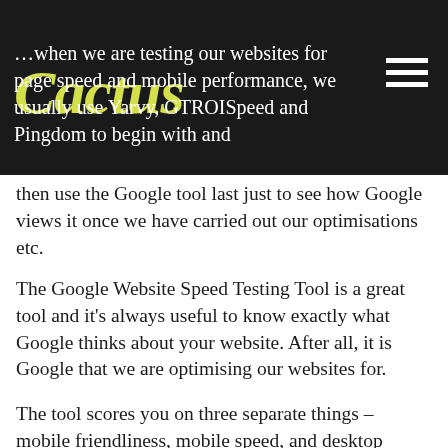Cactus
…when we are testing our websites for page speed and mobile performance, we usually use Yarvy, GTROISpeed and Pingdom to begin with and then use the Google tool last just to see how Google views it once we have carried out our optimisations etc.
The Google Website Speed Testing Tool is a great tool and it's always useful to know exactly what Google thinks about your website. After all, it is Google that we are optimising our websites for.
The tool scores you on three separate things – mobile friendliness, mobile speed, and desktop speed. The results of the analysis are clear and easy to understand and it tells you exaclty what to fix, they will also send you a detailed report if you want one.